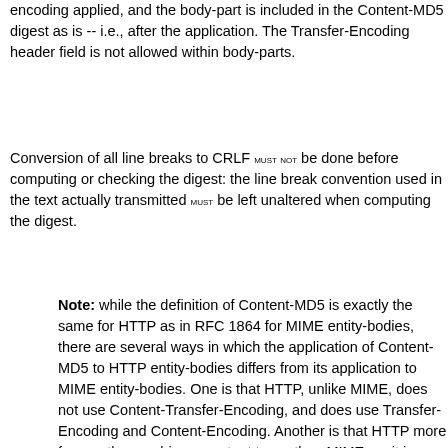encoding applied, and the body-part is included in the Content-MD5 digest as is -- i.e., after the application. The Transfer-Encoding header field is not allowed within body-parts.
Conversion of all line breaks to CRLF MUST NOT be done before computing or checking the digest: the line break convention used in the text actually transmitted MUST be left unaltered when computing the digest.
Note: while the definition of Content-MD5 is exactly the same for HTTP as in RFC 1864 for MIME entity-bodies, there are several ways in which the application of Content-MD5 to HTTP entity-bodies differs from its application to MIME entity-bodies. One is that HTTP, unlike MIME, does not use Content-Transfer-Encoding, and does use Transfer-Encoding and Content-Encoding. Another is that HTTP more frequently uses binary content types than MIME, so it is worth noting that, in such cases